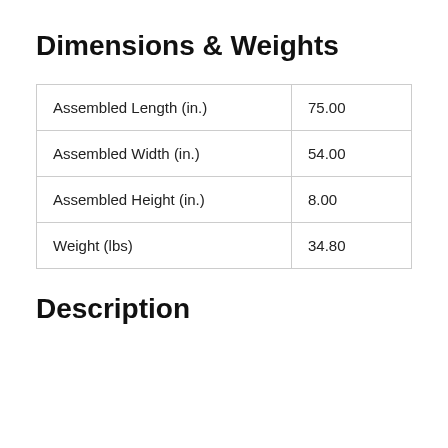Dimensions & Weights
| Assembled Length (in.) | 75.00 |
| Assembled Width (in.) | 54.00 |
| Assembled Height (in.) | 8.00 |
| Weight (lbs) | 34.80 |
Description